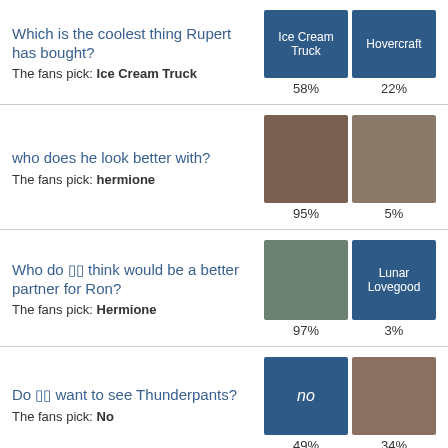Which is the coolest thing Rupert has bought?
The fans pick: Ice Cream Truck
Ice Cream Truck 58% | Hovercraft 22%
who does he look better with?
The fans pick: hermione
95% | 5%
Who do you think would be a better partner for Ron?
The fans pick: Hermione
97% | Lunar Lovegood 3%
Do you want to see Thunderpants?
The fans pick: No
no 49% | 34%
Which movie do you think he looked best in?
The fans pick: Harry Potter 6